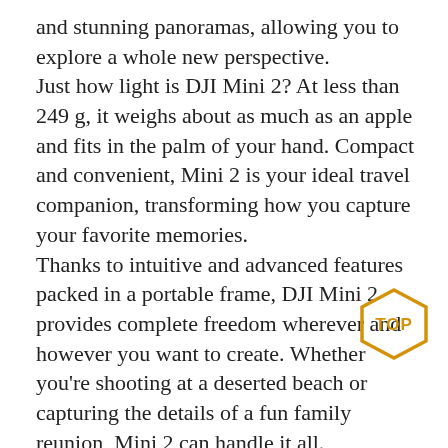and stunning panoramas, allowing you to explore a whole new perspective. Just how light is DJI Mini 2? At less than 249 g, it weighs about as much as an apple and fits in the palm of your hand. Compact and convenient, Mini 2 is your ideal travel companion, transforming how you capture your favorite memories. Thanks to intuitive and advanced features packed in a portable frame, DJI Mini 2 provides complete freedom wherever and however you want to create. Whether you're shooting at a deserted beach or capturing the details of a fun family reunion, Mini 2 can handle it all. With a max battery life of 31 minutes, DJI Mini 2 grants more than enough time to compose the perfect shot. Mini 2 can resist 29-38 kph winds and take off at a max altitude of 4,000 meters, so your footage is stable even when flying along a windy coastline or high above an alpine forest.
[Figure (other): Hexagonal TOP badge/stamp in gold/yellow outline with bold text 'TOP' inside]